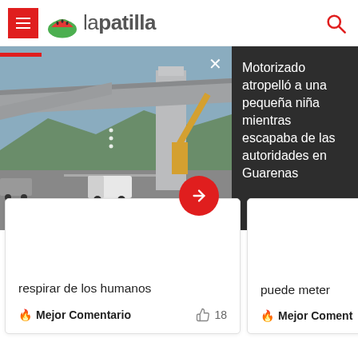lapatilla
[Figure (screenshot): La Patilla news website screenshot showing a header with hamburger menu, watermelon logo, 'lapatilla' site name, and search icon. Below is a slideshow with a photo of a bridge/highway construction scene and a dark panel with headline text. Two article cards below show snippets and 'Mejor Comentario' engagement metrics.]
Motorizado atropelló a una pequeña niña mientras escapaba de las autoridades en Guarenas
respirar de los humanos
Mejor Comentario
18
puede meter
Mejor Comentario